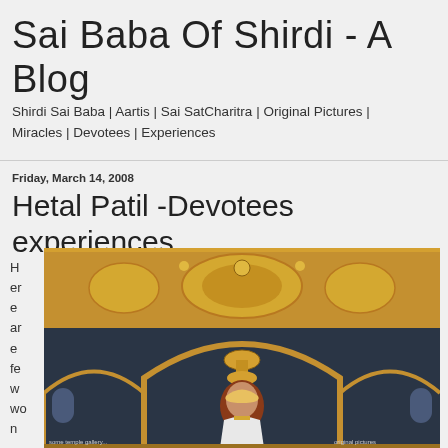Sai Baba Of Shirdi - A Blog
Shirdi Sai Baba | Aartis | Sai SatCharitra | Original Pictures | Miracles | Devotees | Experiences
Friday, March 14, 2008
Hetal Patil -Devotees experiences
H er e ar e fe w wo n
[Figure (photo): Photograph of Sai Baba idol/statue in elaborate golden ornate temple architecture with arches]